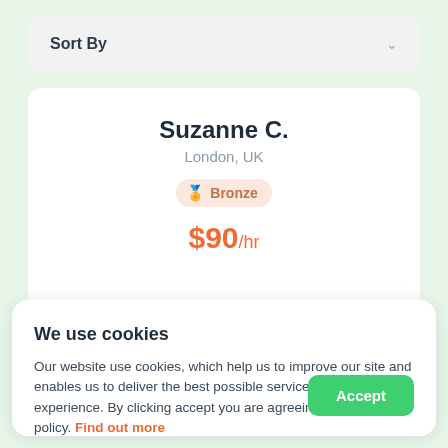Sort By
Suzanne C.
London, UK
Bronze
$90/hr
B. Biology, Cell Biology, Genetics, Microbiology, Z
We use cookies
Our website use cookies, which help us to improve our site and enables us to deliver the best possible service and customer experience. By clicking accept you are agreeing to our cookies policy. Find out more
Accept